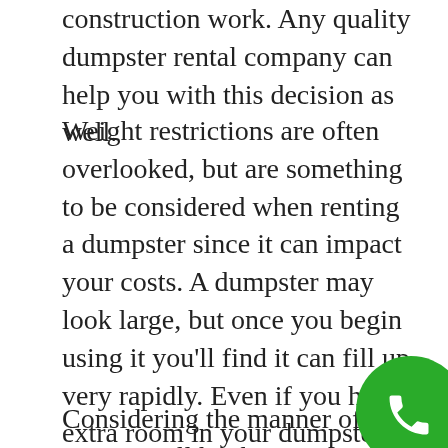construction work. Any quality dumpster rental company can help you with this decision as well.
Weight restrictions are often overlooked, but are something to be considered when renting a dumpster since it can impact your costs. A dumpster may look large, but once you begin using it you'll find it can fill up very rapidly. Even if you have extra room in your dumpster, be aware that it could still be at capacity for its maximum weight. Depending on the waste you're disposing of you may want to check on any landfill fees that may come your way. Be aware that if your dumpster becomes too heavy, it could possibly damage your property or driveway. It's typically a good idea to inform your dumpster rental company of what you're going to be disposing of first.
Considering the manner of items you'll be th the dumpster is also an important step to ta
[Figure (other): Green circular phone/call button in the bottom-right corner]